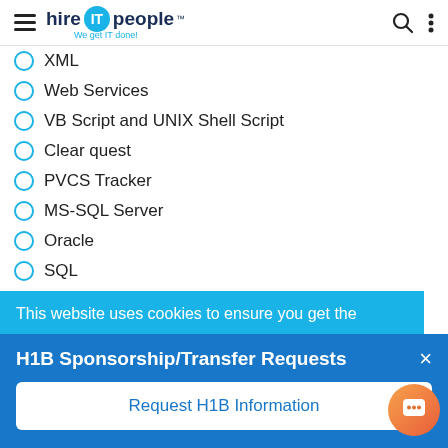hire IT people — We get IT done!
XML
Web Services
VB Script and UNIX Shell Script
Clear quest
PVCS Tracker
MS-SQL Server
Oracle
SQL
Toad
DB2 & DB2/400
This website uses cookies to ensure you get the
H1B Sponsorship/Transfer Requests
Request H1B Information